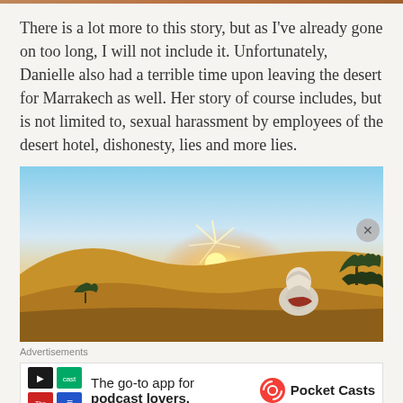There is a lot more to this story, but as I've already gone on too long, I will not include it. Unfortunately, Danielle also had a terrible time upon leaving the desert for Marrakech as well. Her story of course includes, but is not limited to, sexual harassment by employees of the desert hotel, dishonesty, lies and more lies.
[Figure (photo): A person in white robes sitting in a desert landscape watching the sunset, with golden sand dunes and sparse desert shrubs in the background.]
Advertisements
[Figure (screenshot): Advertisement for Pocket Casts app: 'The go-to app for podcast lovers.' with colorful logo tiles and the Pocket Casts brand icon.]